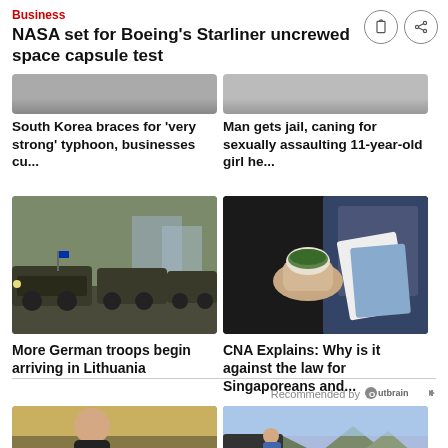Business
NASA set for Boeing's Starliner uncrewed space capsule test
[Figure (photo): Partially visible photo top left — grey/dark scene]
[Figure (photo): Partially visible photo top right — grey/dark scene]
South Korea braces for 'very strong' typhoon, businesses cu...
Man gets jail, caning for sexually assaulting 11-year-old girl he...
[Figure (photo): Military convoy — armored vehicles on road, German troops]
More German troops begin arriving in Lithuania
[Figure (photo): Person holding cannabis in a glass jar at what appears to be a dispensary or event]
CNA Explains: Why is it against the law for Singaporeans and...
Recommended by Outbrain
[Figure (photo): Woman touching hair, partially visible at bottom left]
[Figure (photo): Person sitting at back of vehicle with mountain scenery, partially visible at bottom right]